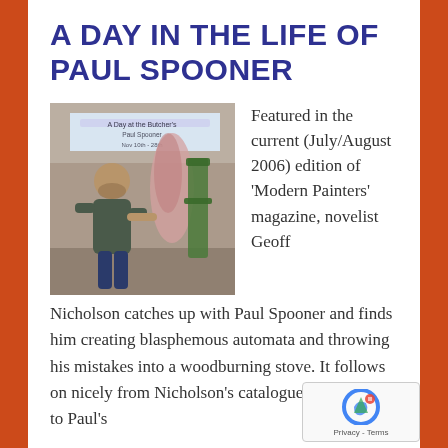A DAY IN THE LIFE OF PAUL SPOONER
[Figure (photo): Man standing in front of a shop window display featuring 'A Day at the Butcher's' by Paul Spooner exhibition sign]
Featured in the current (July/August 2006) edition of 'Modern Painters' magazine, novelist Geoff Nicholson catches up with Paul Spooner and finds him creating blasphemous automata and throwing his mistakes into a woodburning stove. It follows on nicely from Nicholson's catalogue introduction to Paul's